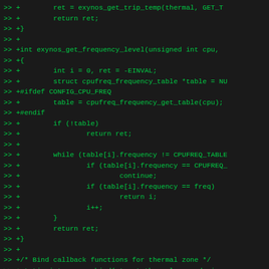>> +        ret = exynos_get_trip_temp(thermal, GET_T
>> +        return ret;
>> +}
>> +
>> +int exynos_get_frequency_level(unsigned int cpu,
>> +{
>> +        int i = 0, ret = -EINVAL;
>> +        struct cpufreq_frequency_table *table = NU
>> +#ifdef CONFIG_CPU_FREQ
>> +        table = cpufreq_frequency_get_table(cpu);
>> +#endif
>> +        if (!table)
>> +                return ret;
>> +
>> +        while (table[i].frequency != CPUFREQ_TABLE
>> +                if (table[i].frequency == CPUFREQ_
>> +                        continue;
>> +                if (table[i].frequency == freq)
>> +                        return i;
>> +                i++;
>> +        }
>> +        return ret;
>> +}
>> +
>> +/* Bind callback functions for thermal zone */
>> +static int exynos_bind(struct thermal_zone_device
>> +                        struct thermal_cooling_dev
>> +{
>> +        int ret = 0, i, tab_size, level;
>> +        struct freq_clip_table *tab_ptr, *clip_da
>> +        struct exynos_thermal_zone *th_zone = the
>> +        struct thermal_sensor_conf *data = th_zo